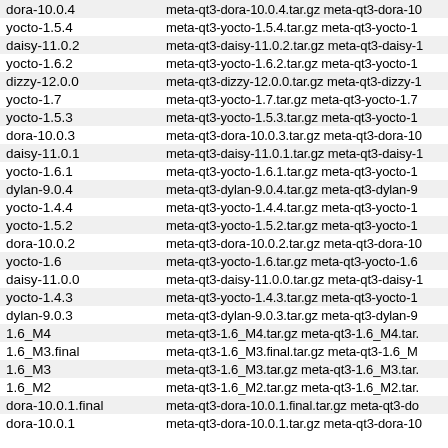| dora-10.0.4 | meta-qt3-dora-10.0.4.tar.gz  meta-qt3-dora-10… |
| yocto-1.5.4 | meta-qt3-yocto-1.5.4.tar.gz  meta-qt3-yocto-1… |
| daisy-11.0.2 | meta-qt3-daisy-11.0.2.tar.gz  meta-qt3-daisy-1… |
| yocto-1.6.2 | meta-qt3-yocto-1.6.2.tar.gz  meta-qt3-yocto-1… |
| dizzy-12.0.0 | meta-qt3-dizzy-12.0.0.tar.gz  meta-qt3-dizzy-1… |
| yocto-1.7 | meta-qt3-yocto-1.7.tar.gz  meta-qt3-yocto-1.7… |
| yocto-1.5.3 | meta-qt3-yocto-1.5.3.tar.gz  meta-qt3-yocto-1… |
| dora-10.0.3 | meta-qt3-dora-10.0.3.tar.gz  meta-qt3-dora-10… |
| daisy-11.0.1 | meta-qt3-daisy-11.0.1.tar.gz  meta-qt3-daisy-1… |
| yocto-1.6.1 | meta-qt3-yocto-1.6.1.tar.gz  meta-qt3-yocto-1… |
| dylan-9.0.4 | meta-qt3-dylan-9.0.4.tar.gz  meta-qt3-dylan-9… |
| yocto-1.4.4 | meta-qt3-yocto-1.4.4.tar.gz  meta-qt3-yocto-1… |
| yocto-1.5.2 | meta-qt3-yocto-1.5.2.tar.gz  meta-qt3-yocto-1… |
| dora-10.0.2 | meta-qt3-dora-10.0.2.tar.gz  meta-qt3-dora-10… |
| yocto-1.6 | meta-qt3-yocto-1.6.tar.gz  meta-qt3-yocto-1.6… |
| daisy-11.0.0 | meta-qt3-daisy-11.0.0.tar.gz  meta-qt3-daisy-1… |
| yocto-1.4.3 | meta-qt3-yocto-1.4.3.tar.gz  meta-qt3-yocto-1… |
| dylan-9.0.3 | meta-qt3-dylan-9.0.3.tar.gz  meta-qt3-dylan-9… |
| 1.6_M4 | meta-qt3-1.6_M4.tar.gz  meta-qt3-1.6_M4.tar.… |
| 1.6_M3.final | meta-qt3-1.6_M3.final.tar.gz  meta-qt3-1.6_M… |
| 1.6_M3 | meta-qt3-1.6_M3.tar.gz  meta-qt3-1.6_M3.tar.… |
| 1.6_M2 | meta-qt3-1.6_M2.tar.gz  meta-qt3-1.6_M2.tar.… |
| dora-10.0.1.final | meta-qt3-dora-10.0.1.final.tar.gz  meta-qt3-do… |
| dora-10.0.1 | meta-qt3-dora-10.0.1.tar.gz  meta-qt3-dora-10… |